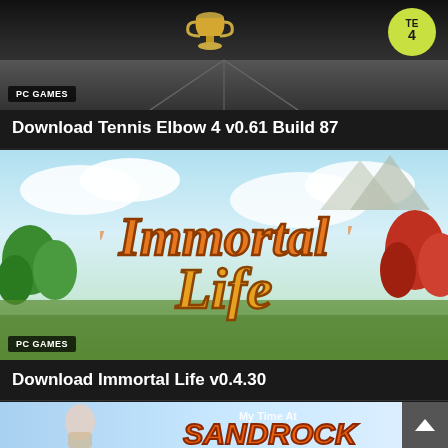[Figure (screenshot): Tennis Elbow 4 game screenshot showing a tennis court surface with a golden trophy and TE4 yellow circular logo badge in top right]
PC GAMES
Download Tennis Elbow 4 v0.61 Build 87
[Figure (screenshot): Immortal Life game banner with stylized orange and gold text 'Immortal Life' over a fantasy landscape with clouds, mountains, green trees, and autumn foliage]
PC GAMES
Download Immortal Life v0.4.30
[Figure (screenshot): My Time at Sandrock game banner with blue sky background, a character figure on the left, and the game's stylized logo on the right]